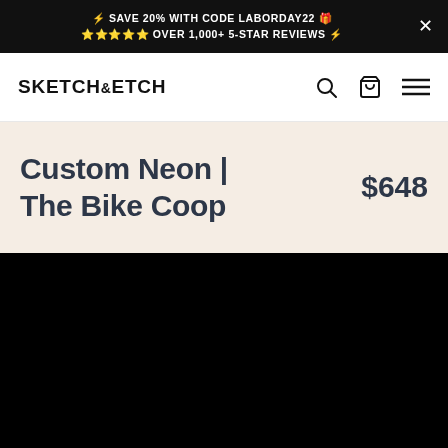⚡ SAVE 20% WITH CODE LABORDAY22 🎁 ⭐⭐⭐⭐⭐ OVER 1,000+ 5-STAR REVIEWS ⚡
SKETCH&ETCH
Custom Neon | The Bike Coop
$648
[Figure (photo): Black background product image area for Custom Neon sign]
Add To Cart - $648